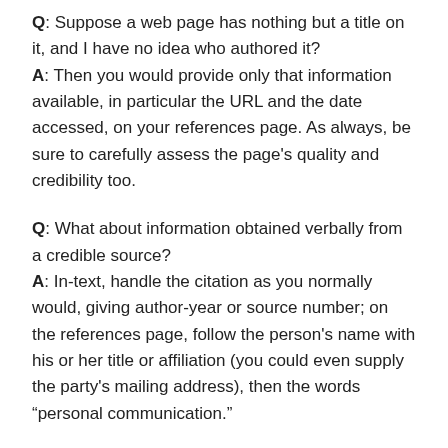Q: Suppose a web page has nothing but a title on it, and I have no idea who authored it?
A: Then you would provide only that information available, in particular the URL and the date accessed, on your references page. As always, be sure to carefully assess the page's quality and credibility too.
Q: What about information obtained verbally from a credible source?
A: In-text, handle the citation as you normally would, giving author-year or source number; on the references page, follow the person's name with his or her title or affiliation (you could even supply the party's mailing address), then the words “personal communication.”
Q: What if I’m citing e-mail, or a newsgroup, or a gopher